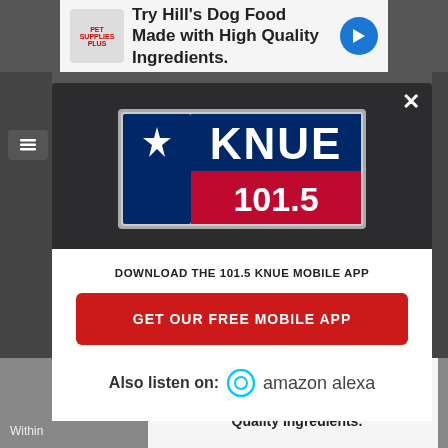[Figure (screenshot): Top advertisement banner: Try Hill's Dog Food Made with High Quality Ingredients.]
[Figure (logo): KNUE 101.5 radio station logo with Texas flag design]
DOWNLOAD THE 101.5 KNUE MOBILE APP
GET OUR FREE MOBILE APP
Also listen on: amazon alexa
[Figure (screenshot): Bottom advertisement banner: Try Hill's Dog Food Made with High Quality Ingredients.]